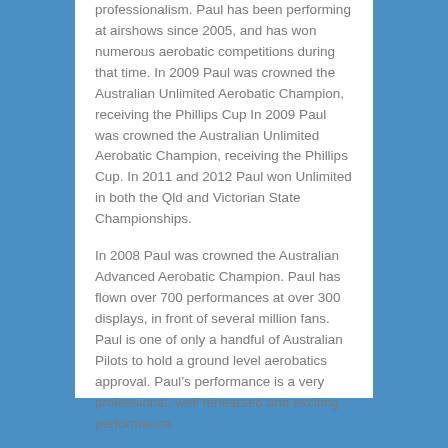professionalism. Paul has been performing at airshows since 2005, and has won numerous aerobatic competitions during that time. In 2009 Paul was crowned the Australian Unlimited Aerobatic Champion, receiving the Phillips Cup In 2009 Paul was crowned the Australian Unlimited Aerobatic Champion, receiving the Phillips Cup. In 2011 and 2012 Paul won Unlimited in both the Qld and Victorian State Championships.
In 2008 Paul was crowned the Australian Advanced Aerobatic Champion. Paul has flown over 700 performances at over 300 displays, in front of several million fans. Paul is one of only a handful of Australian Pilots to hold a ground level aerobatics approval. Paul’s performance is a very professional, well rehearsed and exciting performance.